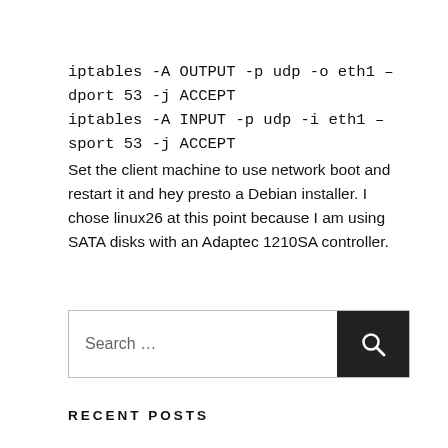iptables -A OUTPUT -p udp -o eth1 –dport 53 -j ACCEPT
iptables -A INPUT -p udp -i eth1 –sport 53 -j ACCEPT
Set the client machine to use network boot and restart it and hey presto a Debian installer. I chose linux26 at this point because I am using SATA disks with an Adaptec 1210SA controller.
Search …
RECENT POSTS